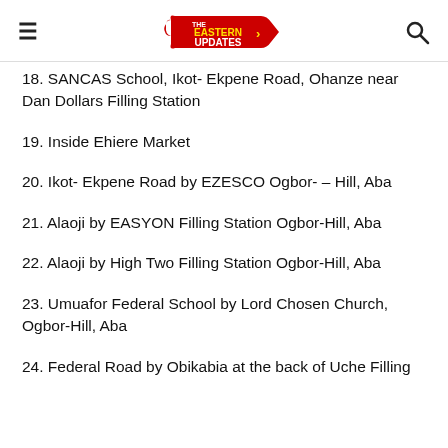THE EASTERN UPDATES
18. SANCAS School, Ikot- Ekpene Road, Ohanze near Dan Dollars Filling Station
19. Inside Ehiere Market
20. Ikot- Ekpene Road by EZESCO Ogbor- – Hill, Aba
21. Alaoji by EASYON Filling Station Ogbor-Hill, Aba
22. Alaoji by High Two Filling Station Ogbor-Hill, Aba
23. Umuafor Federal School by Lord Chosen Church, Ogbor-Hill, Aba
24. Federal Road by Obikabia at the back of Uche Filling